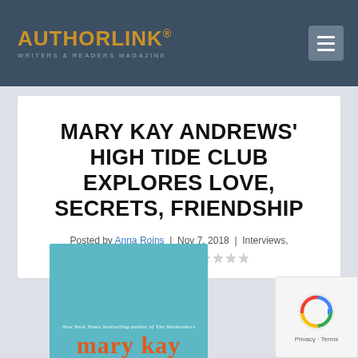AUTHORLINK® WRITERS & READERS MAGAZINE
MARY KAY ANDREWS' HIGH TIDE CLUB EXPLORES LOVE, SECRETS, FRIENDSHIP
Posted by Anna Roins | Nov 7, 2018 | Interviews, Written | 0 💬 | ☆☆☆☆☆
[Figure (photo): Book cover showing 'mary kay' text in orange on teal background, with subtitle 'New York Times bestselling author of The Weekenders']